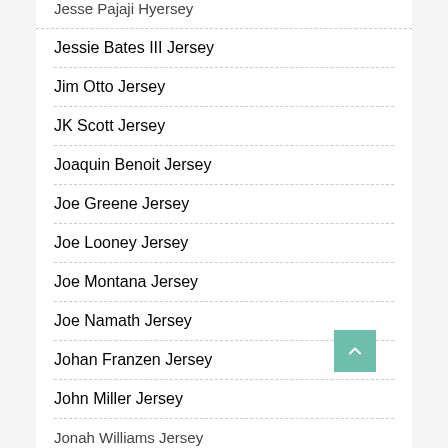Jesse Pajaji Hyersey
Jessie Bates III Jersey
Jim Otto Jersey
JK Scott Jersey
Joaquin Benoit Jersey
Joe Greene Jersey
Joe Looney Jersey
Joe Montana Jersey
Joe Namath Jersey
Johan Franzen Jersey
John Miller Jersey
Jonah Williams Jersey